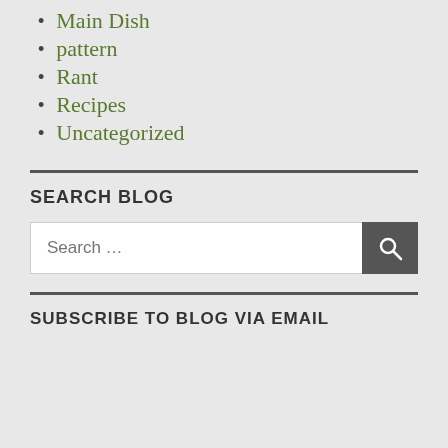Main Dish
pattern
Rant
Recipes
Uncategorized
SEARCH BLOG
Search …
SUBSCRIBE TO BLOG VIA EMAIL